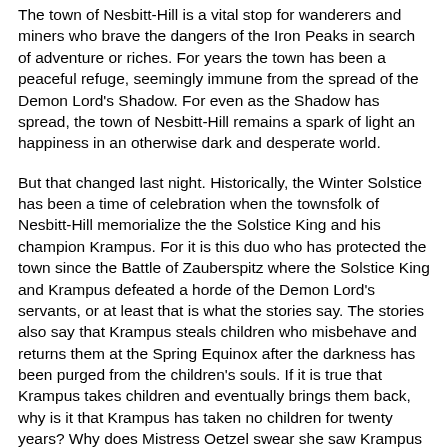The town of Nesbitt-Hill is a vital stop for wanderers and miners who brave the dangers of the Iron Peaks in search of adventure or riches. For years the town has been a peaceful refuge, seemingly immune from the spread of the Demon Lord's Shadow. For even as the Shadow has spread, the town of Nesbitt-Hill remains a spark of light an happiness in an otherwise dark and desperate world.
But that changed last night. Historically, the Winter Solstice has been a time of celebration when the townsfolk of Nesbitt-Hill memorialize the the Solstice King and his champion Krampus. For it is this duo who has protected the town since the Battle of Zauberspitz where the Solstice King and Krampus defeated a horde of the Demon Lord's servants, or at least that is what the stories say. The stories also say that Krampus steals children who misbehave and returns them at the Spring Equinox after the darkness has been purged from the children's souls. If it is true that Krampus takes children and eventually brings them back, why is it that Krampus has taken no children for twenty years? Why does Mistress Oetzel swear she saw Krampus take adults this Winter Solstice? And why were these adults among the most generous citizens of Nesbitt-Hill? Has...